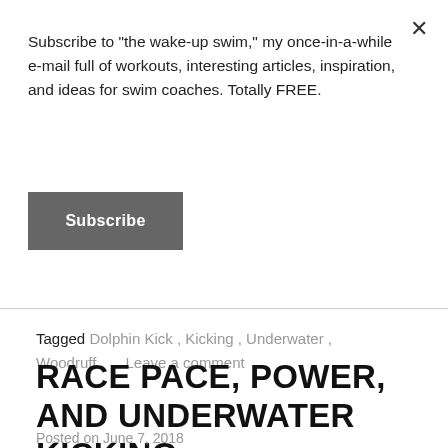Subscribe to "the wake-up swim," my once-in-a-while e-mail full of workouts, interesting articles, inspiration, and ideas for swim coaches. Totally FREE.
Subscribe
Tagged Dolphin Kick , Kicking , Underwater , Woodruff      Leave a comment
RACE PACE, POWER, AND UNDERWATER KICKING
Posted on June 7, 2018